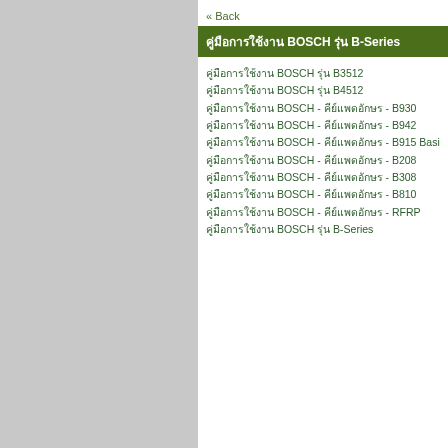« Back
คู่มือการใช้งาน BOSCH รุ่น B-Series
คู่มือการใช้งาน BOSCH รุ่น B3512
คู่มือการใช้งาน BOSCH รุ่น B4512
คู่มือการใช้งาน BOSCH - คีย์แพดอักษร - B930
คู่มือการใช้งาน BOSCH - คีย์แพดอักษร - B942
คู่มือการใช้งาน BOSCH - คีย์แพดอักษร - B915 Basic Keyp
คู่มือการใช้งาน BOSCH - คีย์แพดอักษร - B208
คู่มือการใช้งาน BOSCH - คีย์แพดอักษร - B308
คู่มือการใช้งาน BOSCH - คีย์แพดอักษร - B810
คู่มือการใช้งาน BOSCH - คีย์แพดอักษร - RFRP
คู่มือการใช้งาน BOSCH รุ่น B-Series
Copyright © 2010 A
แท็ก คีย์แพดอักษรรุ่น BOSCH , Intrusion , คีย์แพด
Link ที่เกี่ยวข้อง: คีย์แพดอักษร ; สัญญาณกันขโมย ; Blog
137 people like this. Sign Up to see what your friends like.
Visitors